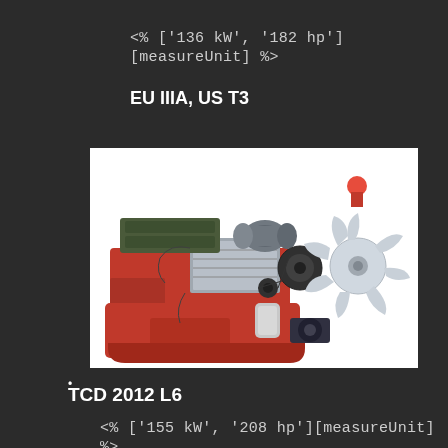<% ['136 kW', '182 hp'][measureUnit] %>
EU IIIA, US T3
[Figure (photo): Red industrial diesel engine (Deutz TCD series) with grey cooling fan assembly, alternator, and various mechanical components, shown on white background]
•
TCD 2012 L6
<% ['155 kW', '208 hp'][measureUnit] %>